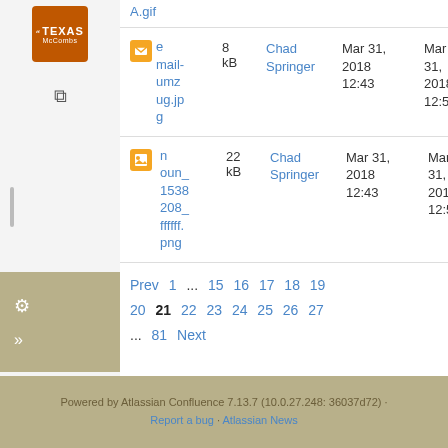[Figure (logo): Texas McCombs logo in orange square]
| File | Size | Author | Created | Modified |
| --- | --- | --- | --- | --- |
| A.gif (partial) |  |  |  |  |
| email-umzug.jpg | 8 kB | Chad Springer | Mar 31, 2018 12:43 | Mar 31, 2018 12:59 |
| noun_1538208_ffffff.png | 22 kB | Chad Springer | Mar 31, 2018 12:43 | Mar 31, 2018 12:59 |
Prev 1 ... 15 16 17 18 19 20 21 22 23 24 25 26 27 ... 81 Next
Powered by Atlassian Confluence 7.13.7 (10.0.27.248: 36037d72) · Report a bug · Atlassian News